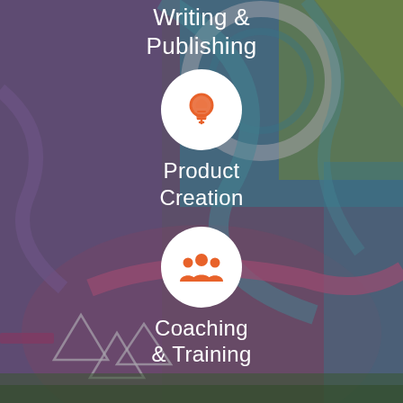Writing & Publishing
[Figure (illustration): White circle with orange lightbulb icon representing Product Creation]
Product Creation
[Figure (illustration): White circle with orange group/people icon representing Coaching & Training]
Coaching & Training